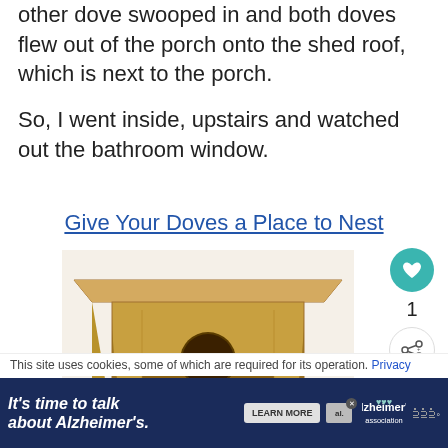other dove swooped in and both doves flew out of the porch onto the shed roof, which is next to the porch.
So, I went inside, upstairs and watched out the bathroom window.
Give Your Doves a Place to Nest
[Figure (photo): Wooden dove nesting box with a slanted roof and circular entrance hole]
[Figure (infographic): UI sidebar with heart/like button showing count 1, share button, and a What's Next panel showing 'Dove Nest in Shoe Stand' with a bird thumbnail image]
This site uses cookies, some of which are required for its operation. Privacy
[Figure (screenshot): Advertisement banner: It's time to talk about Alzheimer's. with Learn More button and Alzheimer's Association logo]